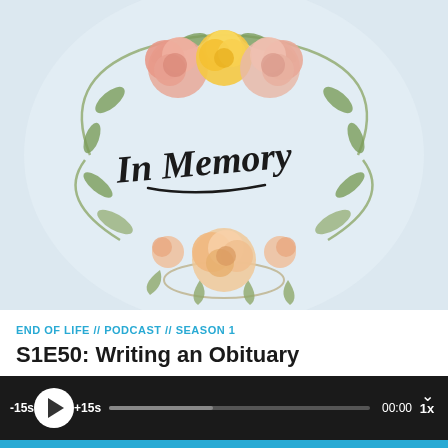[Figure (illustration): Podcast cover art for 'In Memory' — a floral wreath of watercolor roses and leaves on a light blue background, with the text 'In Memory' in a cursive script inside the wreath.]
END OF LIFE // PODCAST // SEASON 1
S1E50: Writing an Obituary
[Figure (screenshot): Audio player bar with -15s, play button, +15s, progress bar, 00:00 timestamp, and 1x speed control on a dark background.]
[Figure (screenshot): Bottom navigation bar in teal/cyan with back and forward arrows on the left and RSS/share icons on the right.]